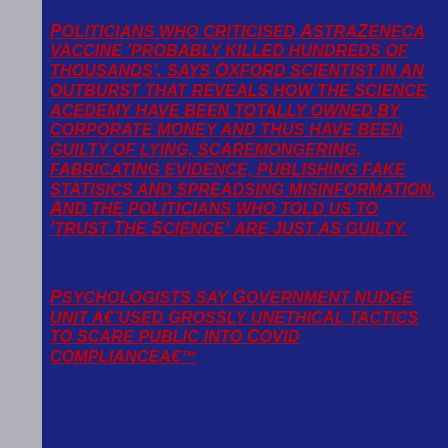Politicians who criticised AstraZeneca vaccine 'probably killed hundreds of thousands', says Oxford scientist in an outburst that reveals how the science acedemy have been totally owned by corporate money and thus have been guilty of lying, scaremongering, fabricating evidence, publishing fake statisics and spreadsing misinformation. And the politicians who told us to 'trust The Science' are just as guilty.
Psychologists say Government nudge unit â€used grossly unethical tactics to scare public into Covid complianceâ€™